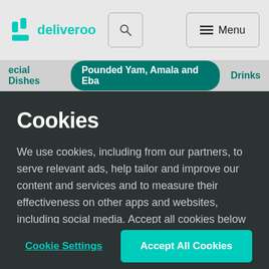[Figure (logo): Deliveroo logo with kangaroo icon and wordmark in teal]
deliveroo | Search | Menu
ecial Dishes   Pounded Yam, Amala and Eba   Drinks
Cookies
We use cookies, including from our partners, to serve relevant ads, help tailor and improve our content and services and to measure their effectiveness on other apps and websites, including social media. Accept all cookies below or select "Cookie Settings" to choose which cookies we can use. To learn more see our Cookie Policy
Cookie Settings
Accept All Cookies